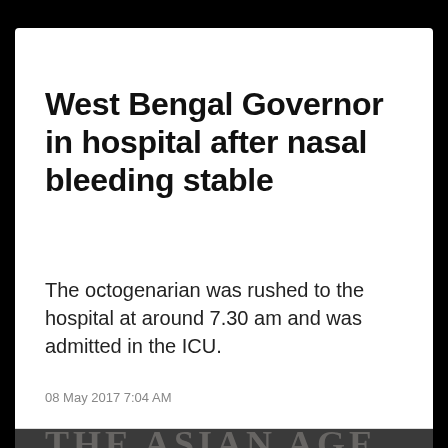West Bengal Governor in hospital after nasal bleeding stable
The octogenarian was rushed to the hospital at around 7.30 am and was admitted in the ICU.
08 May 2017 7:04 AM
The Asian Age